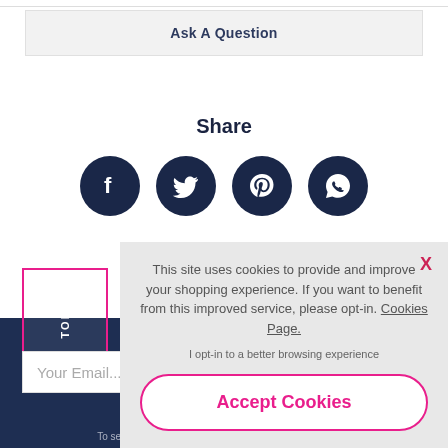Ask A Question
Share
[Figure (infographic): Four circular dark navy social media icons: Facebook, Twitter, Pinterest, WhatsApp]
This site uses cookies to provide and improve your shopping experience. If you want to benefit from this improved service, please opt-in. Cookies Page.
I opt-in to a better browsing experience
Accept Cookies
Your Email...
To see how we process your data view our Privacy Policy